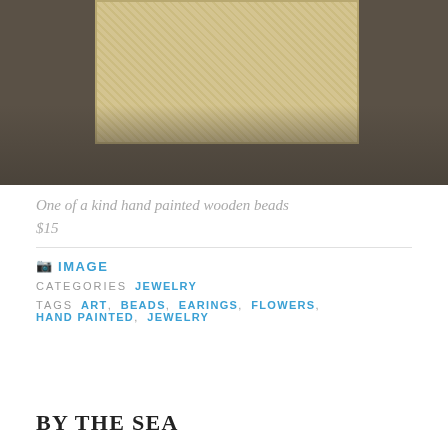[Figure (photo): Photo of hand painted wooden beads artwork displayed on a dark brownish-grey wall background]
One of a kind hand painted wooden beads
$15
IMAGE
CATEGORIES  JEWELRY
TAGS  ART, BEADS, EARINGS, FLOWERS, HAND PAINTED, JEWELRY
BY THE SEA